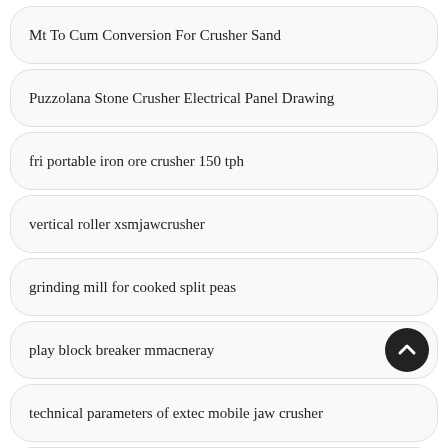Mt To Cum Conversion For Crusher Sand
Puzzolana Stone Crusher Electrical Panel Drawing
fri portable iron ore crusher 150 tph
vertical roller xsmjawcrusher
grinding mill for cooked split peas
play block breaker mmacneray
technical parameters of extec mobile jaw crusher
cone and mantle for cs crusher plant vedios